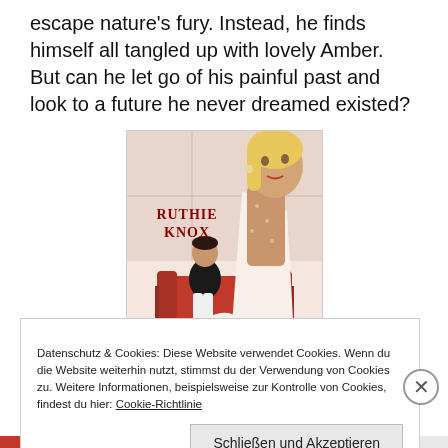escape nature's fury. Instead, he finds himself all tangled up with lovely Amber. But can he let go of his painful past and look to a future he never dreamed existed?
[Figure (illustration): Book cover of 'Along came Trouble' by Ruthie Knox. Shows an illustrated blonde woman in a white dress and a man in a black tuxedo sitting on a red couch.]
Datenschutz & Cookies: Diese Website verwendet Cookies. Wenn du die Website weiterhin nutzt, stimmst du der Verwendung von Cookies zu. Weitere Informationen, beispielsweise zur Kontrolle von Cookies, findest du hier: Cookie-Richtlinie
Schließen und Akzeptieren